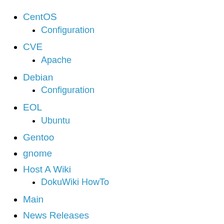CentOS
Configuration
CVE
Apache
Debian
Configuration
EOL
Ubuntu
Gentoo
gnome
Host A Wiki
DokuWiki HowTo
Main
News Releases
Neustar
Puppet